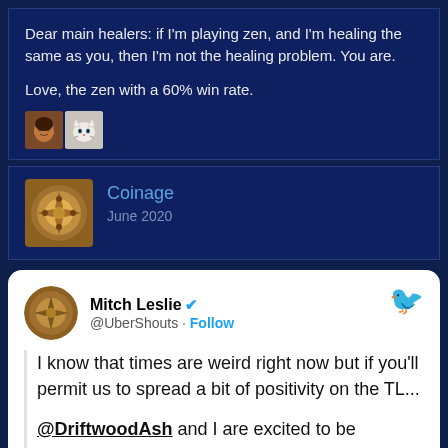Dear main healers: if I'm playing zen, and I'm healing the same as you, then I'm not the healing problem. You are.

Love, the zen with a 60% win rate.
[Figure (illustration): Two small emoji/avatar images: a dark-skinned person emoji and a white cat emoji]
Coinage
June 2020
[Figure (photo): Coinage profile avatar - ornate circular decorative image]
Mitch Leslie @UberShouts · Follow

I know that times are weird right now but if you'll permit us to spread a bit of positivity on the TL...

@DriftwoodAsh and I are excited to be welcoming a beautiful child into the world, around Christmas!